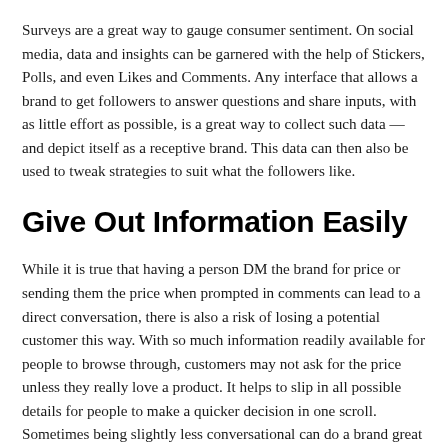Surveys are a great way to gauge consumer sentiment. On social media, data and insights can be garnered with the help of Stickers, Polls, and even Likes and Comments. Any interface that allows a brand to get followers to answer questions and share inputs, with as little effort as possible, is a great way to collect such data — and depict itself as a receptive brand. This data can then also be used to tweak strategies to suit what the followers like.
Give Out Information Easily
While it is true that having a person DM the brand for price or sending them the price when prompted in comments can lead to a direct conversation, there is also a risk of losing a potential customer this way. With so much information readily available for people to browse through, customers may not ask for the price unless they really love a product. It helps to slip in all possible details for people to make a quicker decision in one scroll. Sometimes being slightly less conversational can do a brand great good.